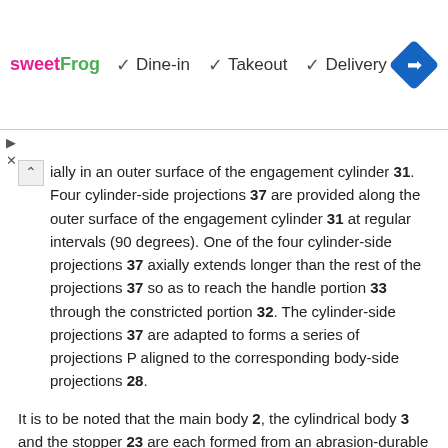[Figure (screenshot): Advertisement banner for sweetFrog showing Dine-in, Takeout, and Delivery options with checkmarks and a navigation arrow diamond icon]
ially in an outer surface of the engagement cylinder 31. Four cylinder-side projections 37 are provided along the outer surface of the engagement cylinder 31 at regular intervals (90 degrees). One of the four cylinder-side projections 37 axially extends longer than the rest of the projections 37 so as to reach the handle portion 33 through the constricted portion 32. The cylinder-side projections 37 are adapted to forms a series of projections P aligned to the corresponding body-side projections 28.
It is to be noted that the main body 2, the cylindrical body 3 and the stopper 23 are each formed from an abrasion-durable polyacetal by means of an injection mold. In stead of the polyacetal, plastic material such as polycarbonate, polysulfone, polyethylene, polypropylene, polyamide or the like may be used. Instead of the injection mold, the main body 2, the cylindrical body 3 and the stopper 23 may be shaped by means of a cutting procedure or the like.
With the use of the medical equipment 1 and the tubular insertion device, to which the medical equipment 1 is attached, the blood vessel, the digestive tract, the urethra or the like in the human body are therapeutically treated or